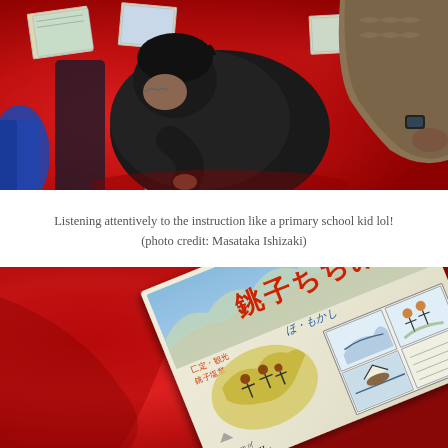[Figure (photo): People sitting on a red floor/carpet, bent over looking at cards or papers spread on the ground. Main subject is a person in dark clothing leaning forward with glasses. Another person visible on the right side in a knitted sweater.]
Listening attentively to the instruction like a primary school kid lol!
(photo credit: Masataka Ishizaki)
[Figure (photo): Close-up of a Japanese pamphlet or booklet placed on a red surface/floor. The booklet has Japanese text including characters that appear to read 'Choshi Chimi' or similar, with colorful illustrations of figures and panels showing scenes. English text visible reading 'The charm of CHOSHI CHI...' partially visible.]